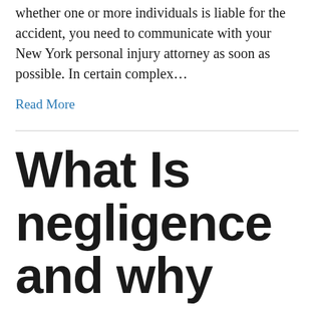whether one or more individuals is liable for the accident, you need to communicate with your New York personal injury attorney as soon as possible. In certain complex...
Read More
What Is negligence and why